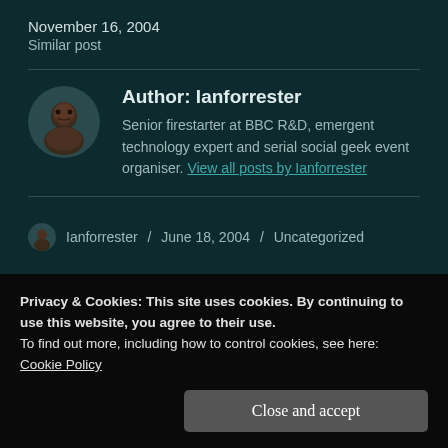November 16, 2004
Similar post
Author: Ianforrester
Senior firestarter at BBC R&D, emergent technology expert and serial social geek event organiser. View all posts by Ianforrester
Ianforrester / June 18, 2004 / Uncategorized
Privacy & Cookies: This site uses cookies. By continuing to use this website, you agree to their use.
To find out more, including how to control cookies, see here:
Cookie Policy
Close and accept